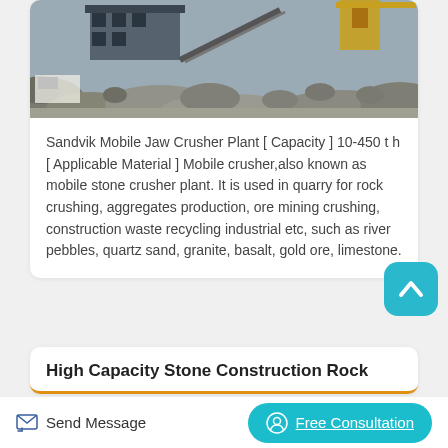[Figure (photo): Quarry scene with mobile jaw crusher plant, rocky terrain, construction equipment visible in background]
Sandvik Mobile Jaw Crusher Plant [ Capacity ] 10-450 t h [ Applicable Material ] Mobile crusher,also known as mobile stone crusher plant. It is used in quarry for rock crushing, aggregates production, ore mining crushing, construction waste recycling industrial etc, such as river pebbles, quartz sand, granite, basalt, gold ore, limestone.
High Capacity Stone Construction Rock
Send Message
Free Consultation